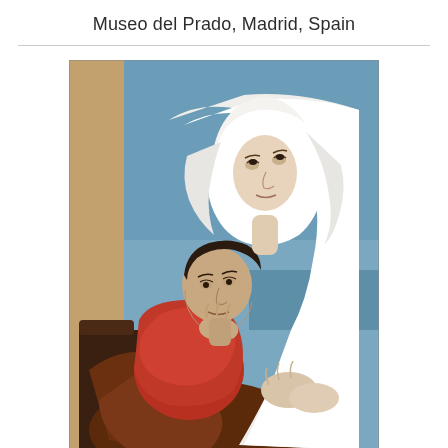Museo del Prado, Madrid, Spain
[Figure (illustration): A classical oil painting depicting two figures — a woman in a white veil/head covering gazing upward with a contemplative expression, and a younger man in a red garment leaning against her with his chin resting on his hand. The background shows a blue sky and a distant sea horizon. The painting is rendered in a neoclassical academic style.]